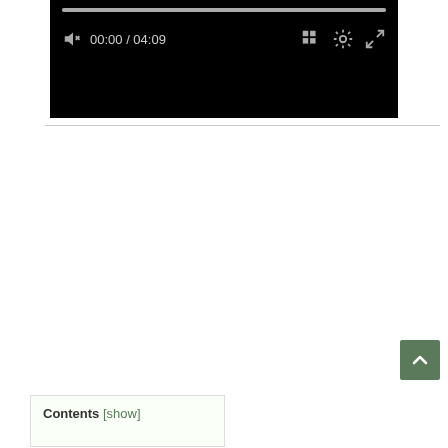[Figure (screenshot): Video player with black background showing progress bar, speaker/mute icon, time display '00:00 / 04:09', grid icon, settings gear icon, and fullscreen icon. Controls on dark player interface.]
Contents [show]